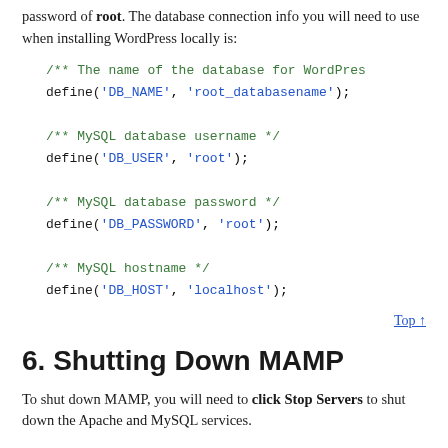password of root. The database connection info you will need to use when installing WordPress locally is:
/** The name of the database for WordPress
define('DB_NAME', 'root_databasename');

/** MySQL database username */
define('DB_USER', 'root');

/** MySQL database password */
define('DB_PASSWORD', 'root');

/** MySQL hostname */
define('DB_HOST', 'localhost');
Top ↑
6. Shutting Down MAMP
To shut down MAMP, you will need to click Stop Servers to shut down the Apache and MySQL services.